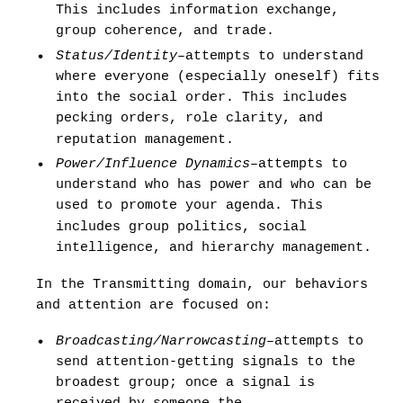This includes information exchange, group coherence, and trade.
Status/Identity–attempts to understand where everyone (especially oneself) fits into the social order. This includes pecking orders, role clarity, and reputation management.
Power/Influence Dynamics–attempts to understand who has power and who can be used to promote your agenda. This includes group politics, social intelligence, and hierarchy management.
In the Transmitting domain, our behaviors and attention are focused on:
Broadcasting/Narrowcasting–attempts to send attention-getting signals to the broadest group; once a signal is received by someone the